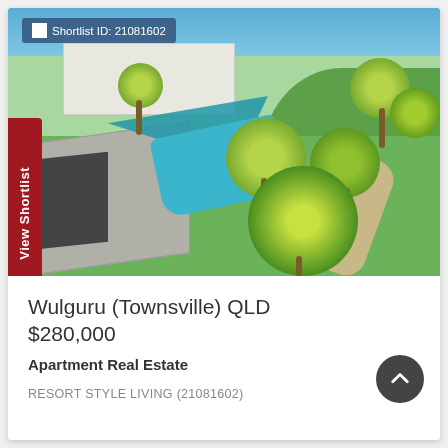[Figure (photo): Aerial view of a residential property in Wulguru (Townsville) QLD showing a swimming pool with blue shade sail, tropical palms and garden, tiled roof house, and lush green lawn. Shortlist ID 21081602 overlay in top-left corner, 'View Shortlist' vertical red tab on left edge.]
Wulguru (Townsville) QLD
$280,000
Apartment Real Estate
RESORT STYLE LIVING (21081602)